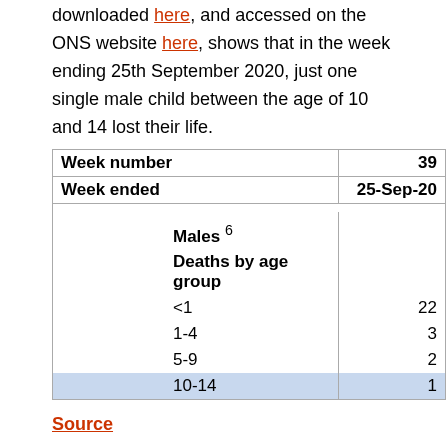downloaded here, and accessed on the ONS website here, shows that in the week ending 25th September 2020, just one single male child between the age of 10 and 14 lost their life.
|  | 39 / 25-Sep-20 |
| --- | --- |
| Week number | 39 |
| Week ended | 25-Sep-20 |
| Males 6 Deaths by age group |  |
| <1 | 22 |
| 1-4 | 3 |
| 5-9 | 2 |
| 10-14 | 1 |
Source
Whereas the 2021 editions of ‘Deaths registered weekly in England and Wales, which can be downloaded here, and accessed on the ONS website here, shows that in the week ending 24th September 2021, 5 male children between the